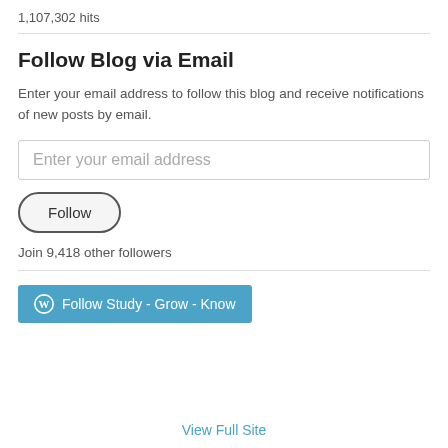1,107,302 hits
Follow Blog via Email
Enter your email address to follow this blog and receive notifications of new posts by email.
Enter your email address
Follow
Join 9,418 other followers
Follow Study - Grow - Know
View Full Site